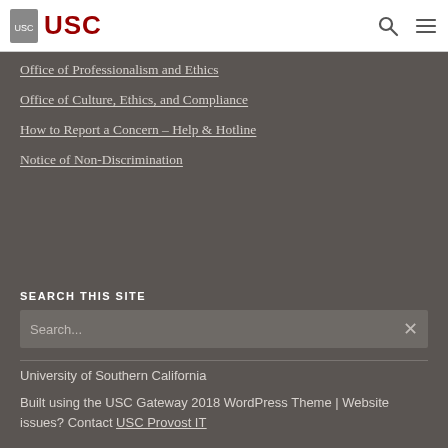USC
Office of Professionalism and Ethics
Office of Culture, Ethics, and Compliance
How to Report a Concern – Help & Hotline
Notice of Non-Discrimination
SEARCH THIS SITE
Search...
University of Southern California
Built using the USC Gateway 2018 WordPress Theme | Website issues? Contact USC Provost IT